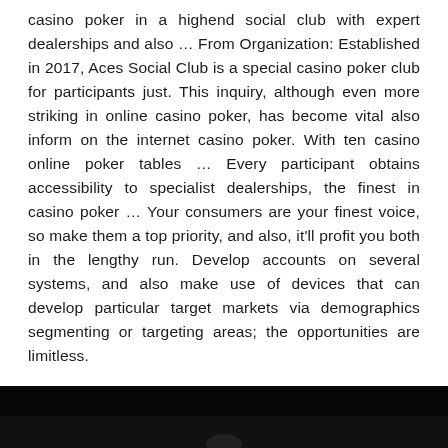casino poker in a highend social club with expert dealerships and also … From Organization: Established in 2017, Aces Social Club is a special casino poker club for participants just. This inquiry, although even more striking in online casino poker, has become vital also inform on the internet casino poker. With ten casino online poker tables … Every participant obtains accessibility to specialist dealerships, the finest in casino poker … Your consumers are your finest voice, so make them a top priority, and also, it'll profit you both in the lengthy run. Develop accounts on several systems, and also make use of devices that can develop particular target markets via demographics segmenting or targeting areas; the opportunities are limitless.
[Figure (photo): A dark photograph partially visible at the bottom of the page, showing a dimly lit scene.]